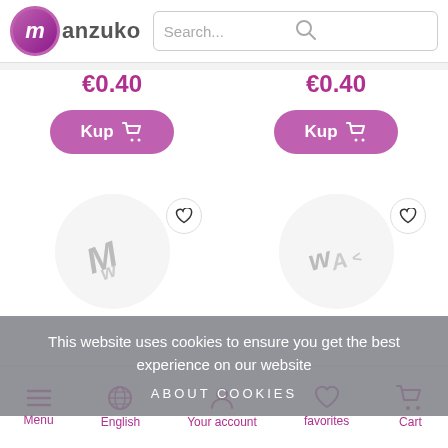[Figure (screenshot): Manzuko website header with logo and search bar]
€0.40
€0.40
[Figure (other): Kup (buy) button with cart icon]
[Figure (other): Kup (buy) button with cart icon]
[Figure (other): Product image circles with heart/favorite buttons]
This website uses cookies to ensure you get the best experience on our website
ABOUT COOKIES
[Figure (other): Bottom navigation bar with Menu, English, Your account, favorites, Cart icons]